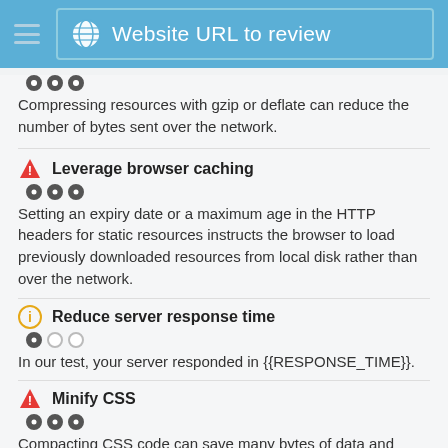Website URL to review
Compressing resources with gzip or deflate can reduce the number of bytes sent over the network.
Leverage browser caching
Setting an expiry date or a maximum age in the HTTP headers for static resources instructs the browser to load previously downloaded resources from local disk rather than over the network.
Reduce server response time
In our test, your server responded in {{RESPONSE_TIME}}.
Minify CSS
Compacting CSS code can save many bytes of data and speed up download and parse times.